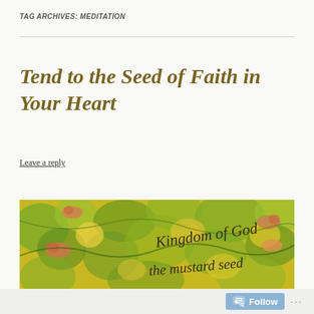TAG ARCHIVES: MEDITATION
Tend to the Seed of Faith in Your Heart
Leave a reply
[Figure (illustration): A colorful painting with yellow-green foliage, birds, and handwritten text reading 'Kingdom of God' and 'the mustard seed']
Follow